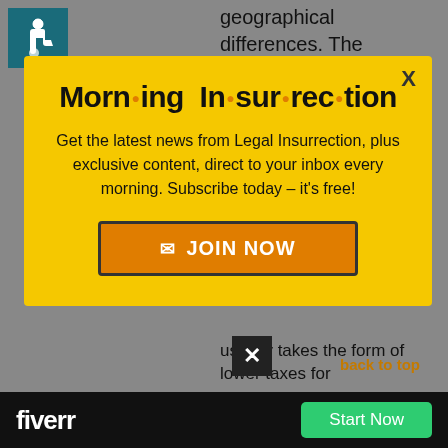[Figure (illustration): Accessibility icon — white wheelchair user on teal/dark blue background]
geographical differences. The Plains states are more conducive to grain
[Figure (infographic): Morning Insurrection modal popup with yellow background. Title: 'Morn·ing In·sur·rec·tion'. Body text: 'Get the latest news from Legal Insurrection, plus exclusive content, direct to your inbox every morning. Subscribe today – it's free!' Orange JOIN NOW button with envelope icon. X close button top right.]
usually takes the form of lower taxes for
given state.
[Figure (logo): Fiverr logo and Start Now button on black bar at bottom]
back to top